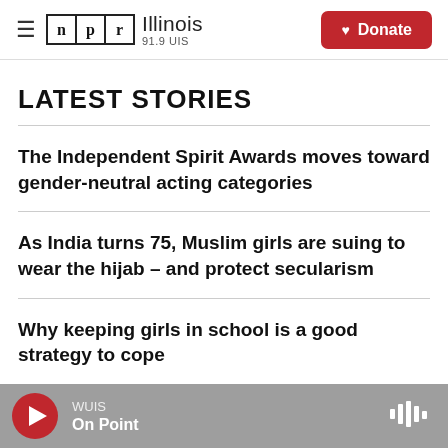NPR Illinois 91.9 UIS — Donate
LATEST STORIES
The Independent Spirit Awards moves toward gender-neutral acting categories
As India turns 75, Muslim girls are suing to wear the hijab – and protect secularism
Why keeping girls in school is a good strategy to cope with climate change
WUIS — On Point